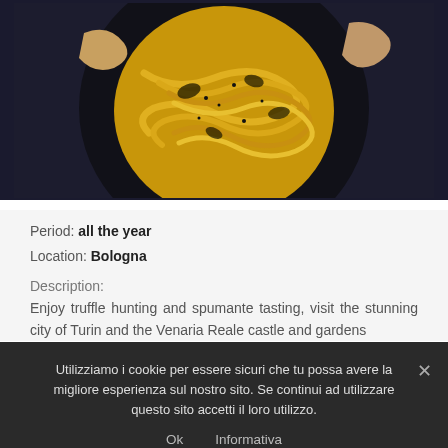[Figure (photo): Close-up photo of pasta dish (tagliatelle with truffle) served in a dark bowl on a dark surface]
Period: all the year
Location: Bologna
Description:
Enjoy truffle hunting and spumante tasting, visit the stunning city of Turin and the Venaria Reale castle and gardens
Utilizziamo i cookie per essere sicuri che tu possa avere la migliore esperienza sul nostro sito. Se continui ad utilizzare questo sito accetti il loro utilizzo.
Ok   Informativa